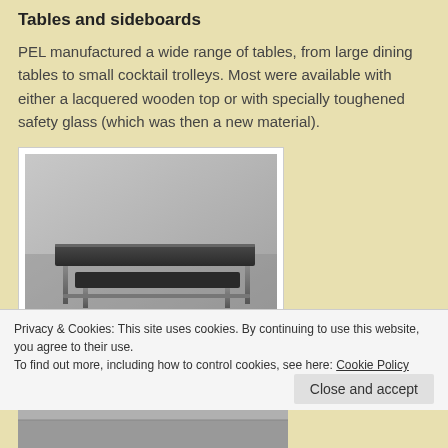Tables and sideboards
PEL manufactured a wide range of tables, from large dining tables to small cocktail trolleys. Most were available with either a lacquered wooden top or with specially toughened safety glass (which was then a new material).
[Figure (photo): Black and white photograph of a modernist table with a dark rectangular top and chrome legs.]
Privacy & Cookies: This site uses cookies. By continuing to use this website, you agree to their use.
To find out more, including how to control cookies, see here: Cookie Policy
Close and accept